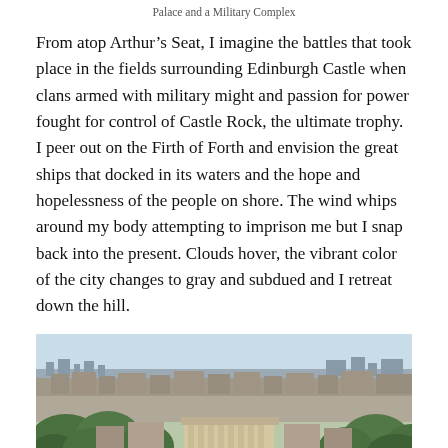Palace and a Military Complex
From atop Arthur’s Seat, I imagine the battles that took place in the fields surrounding Edinburgh Castle when clans armed with military might and passion for power fought for control of Castle Rock, the ultimate trophy. I peer out on the Firth of Forth and envision the great ships that docked in its waters and the hope and hopelessness of the people on shore. The wind whips around my body attempting to imprison me but I snap back into the present. Clouds hover, the vibrant color of the city changes to gray and subdued and I retreat down the hill.
[Figure (photo): Aerial view of Edinburgh city from Arthur's Seat, showing a dense urban landscape with historic buildings, trees in the foreground, and the Firth of Forth visible on the horizon under a partly cloudy sky.]